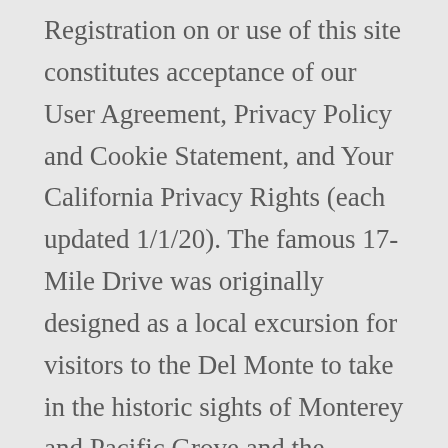Registration on or use of this site constitutes acceptance of our User Agreement, Privacy Policy and Cookie Statement, and Your California Privacy Rights (each updated 1/1/20). The famous 17-Mile Drive was originally designed as a local excursion for visitors to the Del Monte to take in the historic sights of Monterey and Pacific Grove and the scenery of what would become Pebble Beach. Browse photos and listings for the 1 for sale by owner (FSBO) listings in Del Monte Forest CA matching and get in touch with a seller after filtering down to the perfect home. See apartments for rent at Casa Del Monte in Scottsdale, AZ on Zillow.com. [1] During World War II, it closed and the building was leased